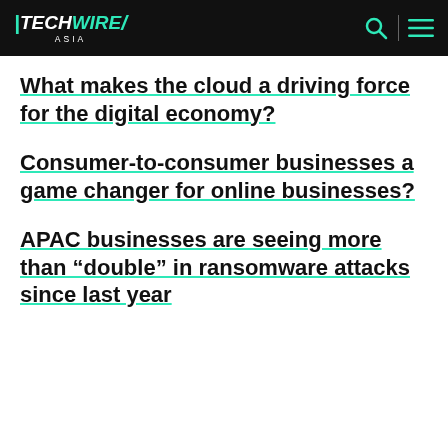TECHWIRE ASIA
What makes the cloud a driving force for the digital economy?
Consumer-to-consumer businesses a game changer for online businesses?
APAC businesses are seeing more than “double” in ransomware attacks since last year